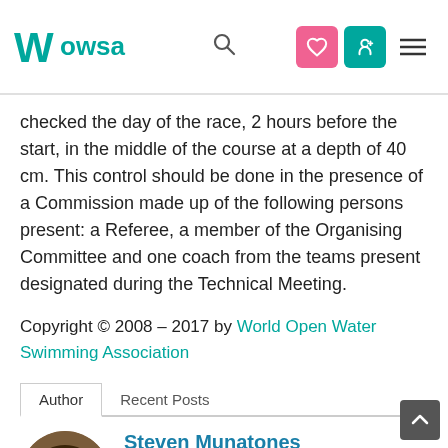WOWSA [navigation header with search and icon buttons]
checked the day of the race, 2 hours before the start, in the middle of the course at a depth of 40 cm. This control should be done in the presence of a Commission made up of the following persons present: a Referee, a member of the Organising Committee and one coach from the teams present designated during the Technical Meeting.
Copyright © 2008 – 2017 by World Open Water Swimming Association
Author   Recent Posts
Steven Munatones
Southern California native, born 1962, is the creator of the WOWSA Awards, Oceans Seven, Openwaterpedia, Citrus Corps, World Open...